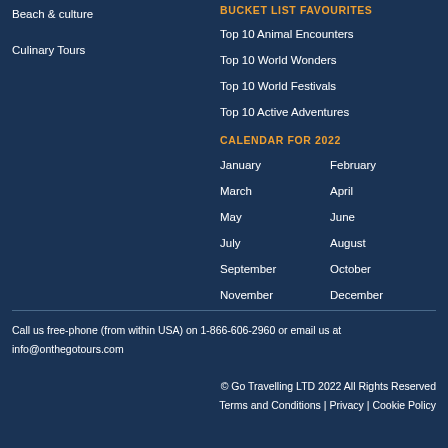Beach & culture
Culinary Tours
BUCKET LIST FAVOURITES
Top 10 Animal Encounters
Top 10 World Wonders
Top 10 World Festivals
Top 10 Active Adventures
CALENDAR FOR 2022
January
February
March
April
May
June
July
August
September
October
November
December
Call us free-phone (from within USA) on 1-866-606-2960 or email us at info@onthegotours.com
© Go Travelling LTD 2022 All Rights Reserved
Terms and Conditions | Privacy | Cookie Policy